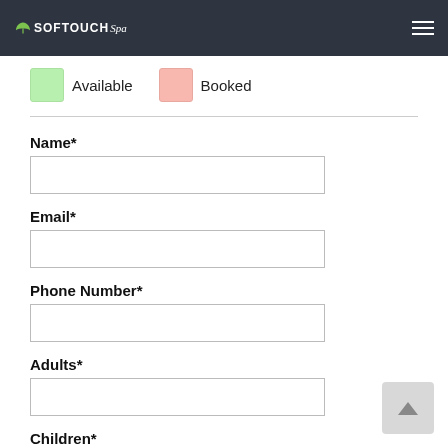SOFTOUCH Spa
Available   Booked
Name*
Email*
Phone Number*
Adults*
Children*